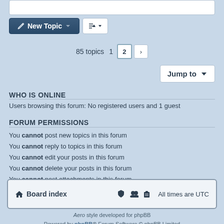85 topics  1  2  >
Jump to
WHO IS ONLINE
Users browsing this forum: No registered users and 1 guest
FORUM PERMISSIONS
You cannot post new topics in this forum
You cannot reply to topics in this forum
You cannot edit your posts in this forum
You cannot delete your posts in this forum
You cannot post attachments in this forum
Board index  All times are UTC
Aero style developed for phpBB
Powered by phpBB® Forum Software © phpBB Limited
Privacy | Terms